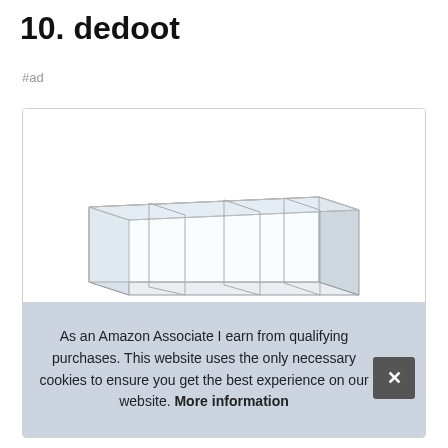10. dedoot
#ad
[Figure (photo): Acrylic clear 4-compartment organizer tray with open top, shown in a product card with border.]
As an Amazon Associate I earn from qualifying purchases. This website uses the only necessary cookies to ensure you get the best experience on our website. More information